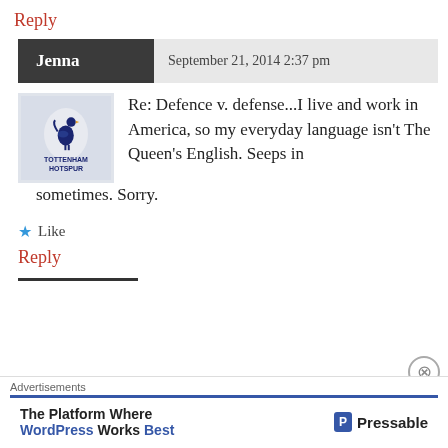Reply
Jenna  September 21, 2014 2:37 pm
Re: Defence v. defense...I live and work in America, so my everyday language isn't The Queen's English. Seeps in sometimes. Sorry.
★ Like
Reply
Advertisements
The Platform Where WordPress Works Best   Pressable